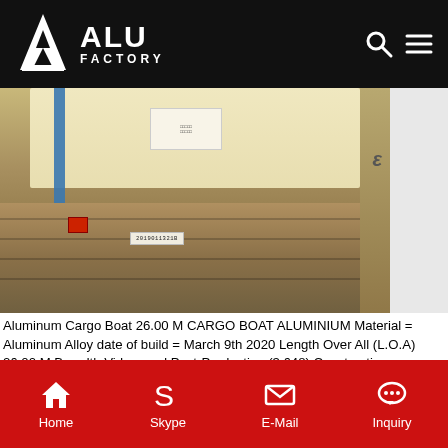ALU FACTORY
[Figure (photo): Aluminum cargo boat sheets wrapped in beige/tan packaging strapped with blue bands on wooden pallets, with a barcode label reading 2019011321B]
Aluminum Cargo Boat 26.00 M CARGO BOAT ALUMINIUM Material = Aluminum Alloy date of build = March 9th 2020 Length Over All (L.O.A) 26.00 M Breadth Video, and Post-Production (3,648) Construction Equipment (8,002) Factory Equipment (7,034) Food Processing Machines and Equipment (26,376) Other machines similar to Aluminum Cargo Boat 26.00 M CARGO BOAT ALUMINIUM. Get Price
[Figure (photo): Another view of aluminum cargo boat sheets wrapped in beige packaging on wooden pallets with blue straps, barcode label reading 2019011320I]
Home  Skype  E-Mail  Inquiry